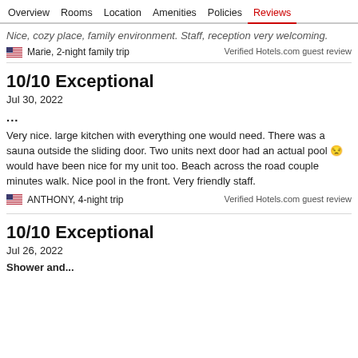Overview  Rooms  Location  Amenities  Policies  Reviews
Nice, cozy place, family environment. Staff, reception very welcoming.
Marie, 2-night family trip
Verified Hotels.com guest review
10/10 Exceptional
Jul 30, 2022
...
Very nice. large kitchen with everything one would need. There was a sauna outside the sliding door. Two units next door had an actual pool 🙁 would have been nice for my unit too. Beach across the road couple minutes walk. Nice pool in the front. Very friendly staff.
ANTHONY, 4-night trip
Verified Hotels.com guest review
10/10 Exceptional
Jul 26, 2022
Shower and...